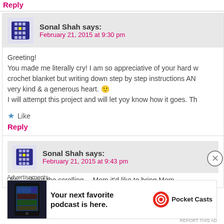Reply
Sonal Shah says:
February 21, 2015 at 9:30 pm
Greeting!
You made me literally cry! I am so appreciative of your hard w… crochet blanket but writing down step by step instructions AN… very kind & a generous heart. 🙂
I will attempt this project and will let yoy know how it goes. Th…
★ Like
Reply
Sonal Shah says:
February 21, 2015 at 9:43 pm
So… about the scrolling… Mom it'd like to bring Mom…
[Figure (infographic): Pocket Casts advertisement banner: dark phone image on left, text 'Your next favorite podcast is here.' in center, Pocket Casts logo on right]
Advertisements